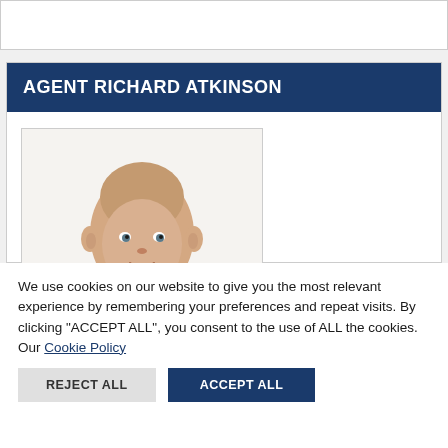AGENT RICHARD ATKINSON
[Figure (photo): Headshot photo of a bald man smiling against a white background]
We use cookies on our website to give you the most relevant experience by remembering your preferences and repeat visits. By clicking "ACCEPT ALL", you consent to the use of ALL the cookies.
Our Cookie Policy
REJECT ALL
ACCEPT ALL